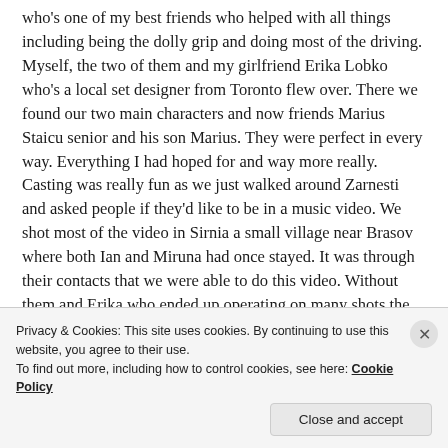who's one of my best friends who helped with all things including being the dolly grip and doing most of the driving. Myself, the two of them and my girlfriend Erika Lobko who's a local set designer from Toronto flew over. There we found our two main characters and now friends Marius Staicu senior and his son Marius. They were perfect in every way. Everything I had hoped for and way more really. Casting was really fun as we just walked around Zarnesti and asked people if they'd like to be in a music video. We shot most of the video in Sirnia a small village near Brasov where both Ian and Miruna had once stayed. It was through their contacts that we were able to do this video. Without them and Erika who ended up operating on many shots the video would have never been
Privacy & Cookies: This site uses cookies. By continuing to use this website, you agree to their use.
To find out more, including how to control cookies, see here: Cookie Policy